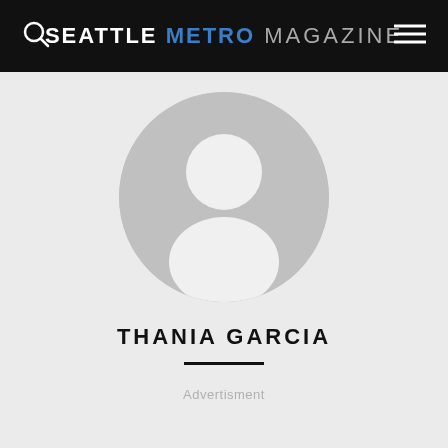SEATTLE METRO MAGAZINE
[Figure (illustration): Default user avatar placeholder: a grey circle containing a white silhouette of a person (head and shoulders)]
THANIA GARCIA
Advertisment